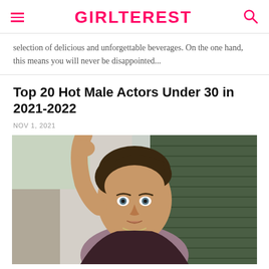GIRLTEREST
selection of delicious and unforgettable beverages. On the one hand, this means you will never be disappointed...
Top 20 Hot Male Actors Under 30 in 2021-2022
NOV 1, 2021
[Figure (photo): A young man with dark hair styled back, one hand raised behind his head, wearing a casual open shirt with a chain necklace, posed against a background with green horizontal blinds and foliage.]